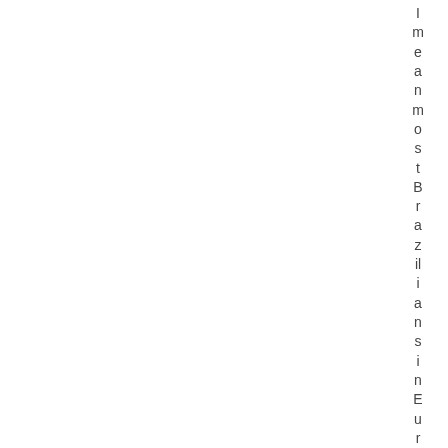I mean most Brazilians in European are n